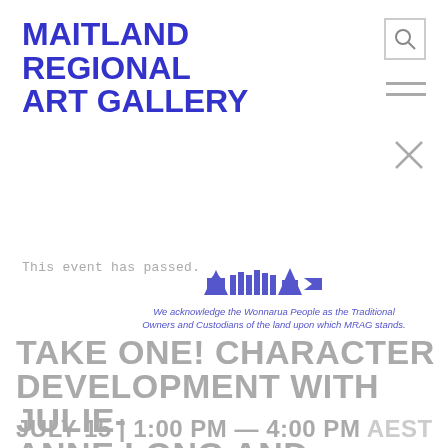MAITLAND REGIONAL ART GALLERY
[Figure (logo): Search icon (magnifying glass in a square border) in top right]
[Figure (illustration): Hamburger menu icon (two horizontal lines) in top right]
[Figure (illustration): Close/X icon below hamburger menu]
This event has passed.
[Figure (logo): MRAG stylized building/skyline logo in purple]
We acknowledge the Wonnarua People as the Traditional Owners and Custodians of the land upon which MRAG stands.
TAKE ONE! CHARACTER DEVELOPMENT WITH JULIE-ANNE LONG AND UPSTAGE YOUTH THEATRE
JULY 15 | 1:00 PM — 4:00 PM AEST